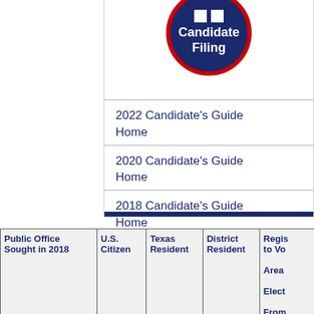[Figure (logo): Candidate Filing circular logo with navy blue background, red border, white bars icon, and text 'Candidate Filing']
2022 Candidate's Guide Home
2020 Candidate's Guide Home
2018 Candidate's Guide Home
| Public Office Sought in 2018 | U.S. Citizen | Texas Resident | District Resident | Regis to Vo Area Elect From |
| --- | --- | --- | --- | --- |
|  |  |  |  |  |